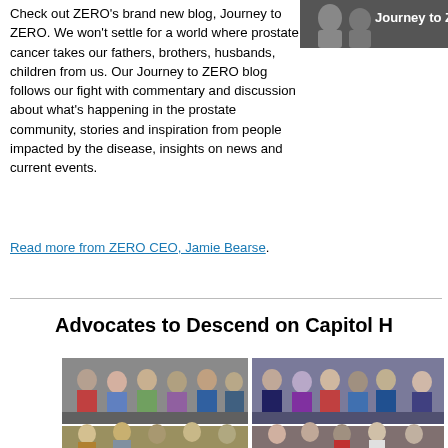[Figure (photo): Partial photo with text overlay 'Journey to Z...' showing a person, top-right corner]
Check out ZERO's brand new blog, Journey to ZERO. We won't settle for a world where prostate cancer takes our fathers, brothers, husbands, children from us. Our Journey to ZERO blog follows our fight with commentary and discussion about what's happening in the prostate community, stories and inspiration from people impacted by the disease, insights on news and current events.
Read more from ZERO CEO, Jamie Bearse.
Advocates to Descend on Capitol H
[Figure (photo): Grid of group photos showing advocates, arranged in a 2-column grid with partial rows visible]